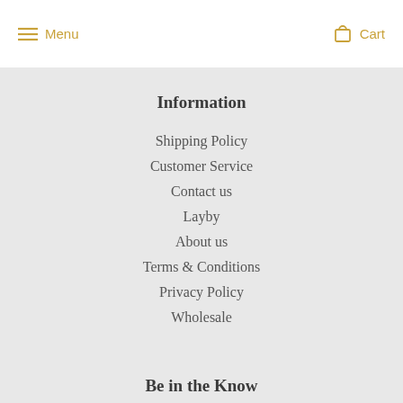Menu   Cart
Information
Shipping Policy
Customer Service
Contact us
Layby
About us
Terms & Conditions
Privacy Policy
Wholesale
Be in the Know